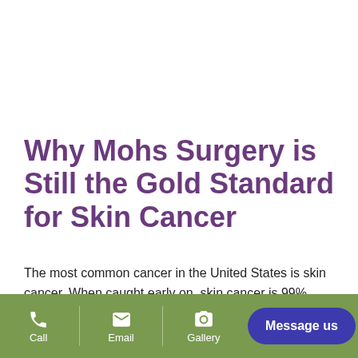Why Mohs Surgery is Still the Gold Standard for Skin Cancer
The most common cancer in the United States is skin cancer. When caught early on, skin cancer is 99% curable. The two most common forms of skin cancer are basal cell carcinomas (BCCs) and squamous cell
Call  Email  Gallery  Message us